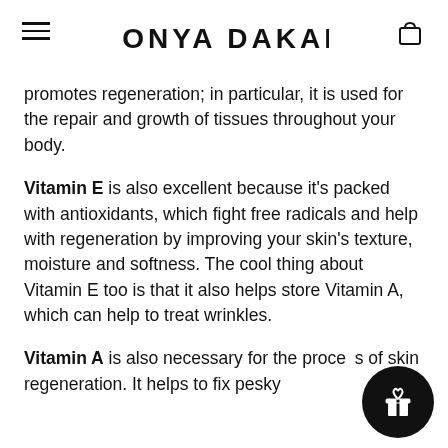SONYA DAKAR
promotes regeneration; in particular, it is used for the repair and growth of tissues throughout your body.
Vitamin E is also excellent because it's packed with antioxidants, which fight free radicals and help with regeneration by improving your skin's texture, moisture and softness. The cool thing about Vitamin E too is that it also helps store Vitamin A, which can help to treat wrinkles.
Vitamin A is also necessary for the process of skin regeneration. It helps to fix pesky